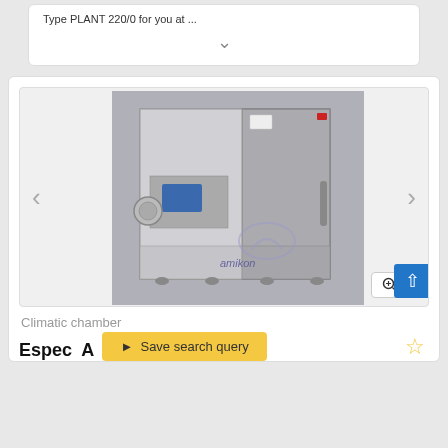Type PLANT 220/0 for you at ...
[Figure (photo): Espec climatic chamber / environmental test chamber, stainless steel, shown from front-right angle with open door visible, blue touchscreen display, circular port on left side. Amikon watermark/logo visible at bottom right of image.]
Climatic chamber
Espec A[...]
Save search query